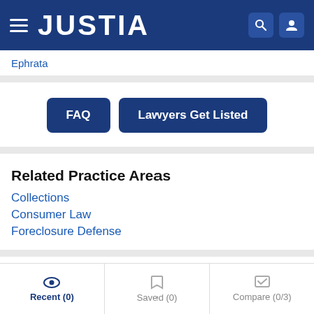JUSTIA
Ephrata
FAQ  Lawyers Get Listed
Related Practice Areas
Collections
Consumer Law
Foreclosure Defense
Recent (0)  Saved (0)  Compare (0/3)